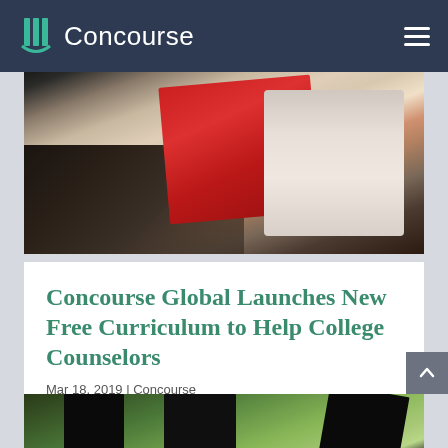Concourse
[Figure (photo): Person at a desk holding a red folder or binder, with a keyboard visible, in an office setting]
Concourse Global Launches New Free Curriculum to Help College Counselors
Mar 18, 2019 | Concourse
[Figure (photo): Group of graduates in caps and gowns celebrating outdoors, tossing caps in the air]